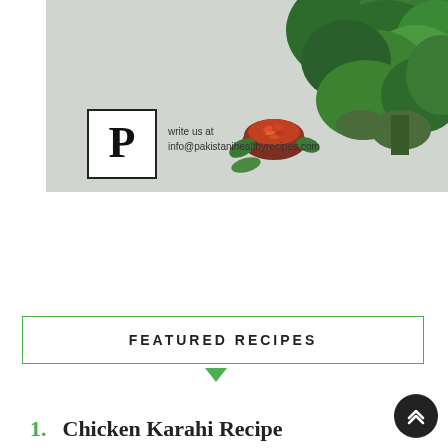[Figure (photo): Light gray background with broccoli on the right side and a small bowl of red chili flakes in the center-right. Logo 'P' in a box on the left with text 'write us at info@pakistanihealthyrecipes.com']
FEATURED RECIPES
1. Chicken Karahi Recipe